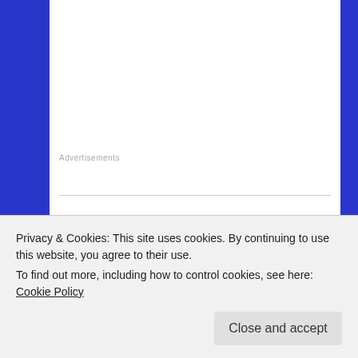Advertisements
Paul R   February 18, 2015 at 12:31 pm
Dear Mark/Mike,
How do you recommend doing a warm-up for a hangboard session on a limited home/travel setup? In the book, you suggest to do at least 20 min of low-to-moderate intensity traversing, if practical at the gym. What do you do when going to the gym is
Privacy & Cookies: This site uses cookies. By continuing to use this website, you agree to their use.
To find out more, including how to control cookies, see here: Cookie Policy
Close and accept